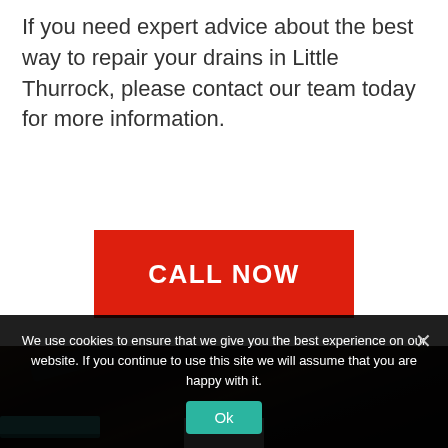If you need expert advice about the best way to repair your drains in Little Thurrock, please contact our team today for more information.
[Figure (other): Red button with bold white text reading CALL NOW]
[Figure (photo): Dark photo showing plumbing/drain repair work with tools and pipes visible]
We use cookies to ensure that we give you the best experience on our website. If you continue to use this site we will assume that you are happy with it.